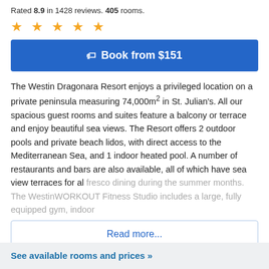Rated 8.9 in 1428 reviews. 405 rooms.
★ ★ ★ ★ ★
Book from $151
The Westin Dragonara Resort enjoys a privileged location on a private peninsula measuring 74,000m² in St. Julian's. All our spacious guest rooms and suites feature a balcony or terrace and enjoy beautiful sea views. The Resort offers 2 outdoor pools and private beach lidos, with direct access to the Mediterranean Sea, and 1 indoor heated pool. A number of restaurants and bars are also available, all of which have sea view terraces for al fresco dining during the summer months. The WestinWORKOUT Fitness Studio includes a large, fully equipped gym, indoor
Read more...
See available rooms and prices »